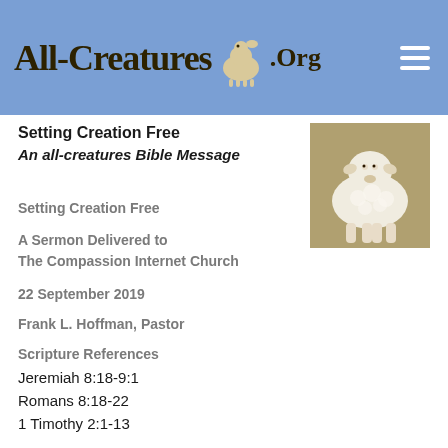All-Creatures.Org
Setting Creation Free
An all-creatures Bible Message
[Figure (photo): A white lamb standing outdoors on brown ground]
Setting Creation Free
A Sermon Delivered to
The Compassion Internet Church
22 September 2019
Frank L. Hoffman, Pastor
Scripture References
Jeremiah 8:18-9:1
Romans 8:18-22
1 Timothy 2:1-13
Setting creation free is what Paul tells us that we, as children of God, should be doing in Romans 8:18-22…